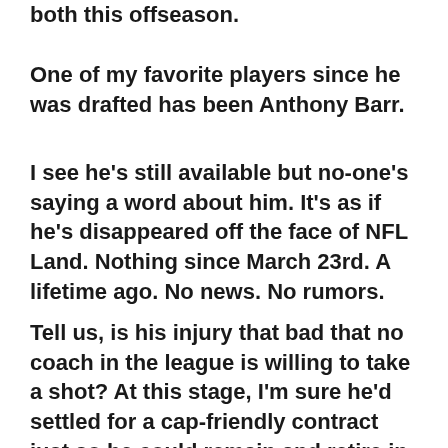both this offseason.
One of my favorite players since he was drafted has been Anthony Barr.
I see he's still available but no-one's saying a word about him. It's as if he's disappeared off the face of NFL Land. Nothing since March 23rd. A lifetime ago. No news. No rumors.
Tell us, is his injury that bad that no coach in the league is willing to take a shot? At this stage, I'm sure he'd settled for a cap-friendly contract just so he could remain and retire in Minnesota.